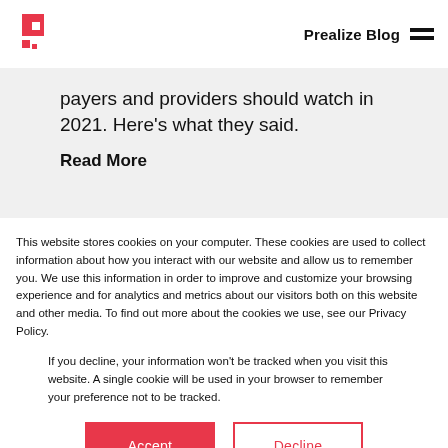Prealize Blog
payers and providers should watch in 2021. Here's what they said.
Read More
This website stores cookies on your computer. These cookies are used to collect information about how you interact with our website and allow us to remember you. We use this information in order to improve and customize your browsing experience and for analytics and metrics about our visitors both on this website and other media. To find out more about the cookies we use, see our Privacy Policy.
If you decline, your information won't be tracked when you visit this website. A single cookie will be used in your browser to remember your preference not to be tracked.